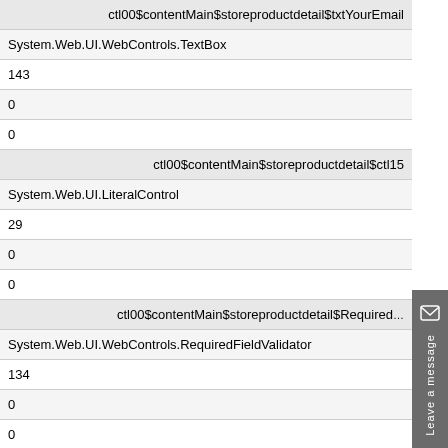| ctl00$contentMain$storeproductdetail$txtYourEmail |
| System.Web.UI.WebControls.TextBox |
| 143 |
| 0 |
| 0 |
| ctl00$contentMain$storeproductdetail$ctl15 |
| System.Web.UI.LiteralControl |
| 29 |
| 0 |
| 0 |
| ctl00$contentMain$storeproductdetail$Required… |
| System.Web.UI.WebControls.RequiredFieldValidator |
| 134 |
| 0 |
| 0 |